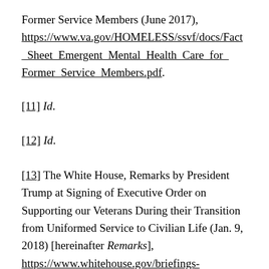Former Service Members (June 2017), https://www.va.gov/HOMELESS/ssvf/docs/Fact_Sheet_Emergent_Mental_Health_Care_for_Former_Service_Members.pdf.
[11] Id.
[12] Id.
[13] The White House, Remarks by President Trump at Signing of Executive Order on Supporting our Veterans During their Transition from Uniformed Service to Civilian Life (Jan. 9, 2018) [hereinafter Remarks], https://www.whitehouse.gov/briefings-statements/remarks-president-trump-signing-